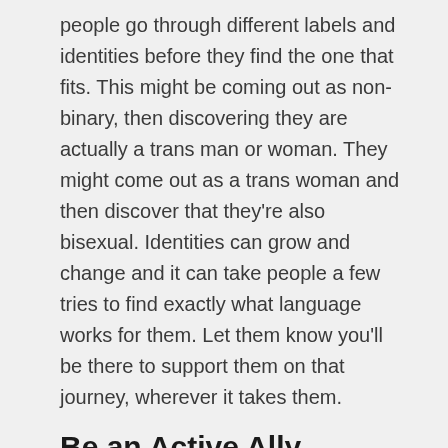people go through different labels and identities before they find the one that fits. This might be coming out as non-binary, then discovering they are actually a trans man or woman. They might come out as a trans woman and then discover that they're also bisexual. Identities can grow and change and it can take people a few tries to find exactly what language works for them. Let them know you'll be there to support them on that journey, wherever it takes them.
Be an Active Ally
Supporting your trans child doesn't just happen when you're with them. It means